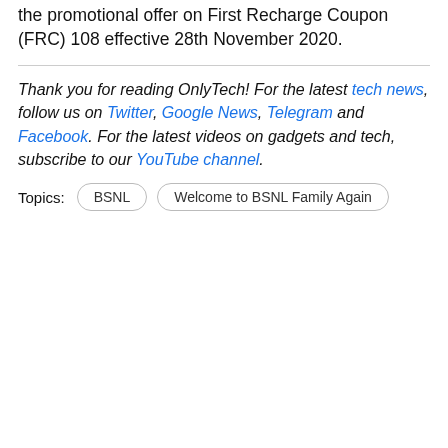with immediate effect today while extending the promotional offer on First Recharge Coupon (FRC) 108 effective 28th November 2020.
Thank you for reading OnlyTech! For the latest tech news, follow us on Twitter, Google News, Telegram and Facebook. For the latest videos on gadgets and tech, subscribe to our YouTube channel.
Topics: BSNL  Welcome to BSNL Family Again